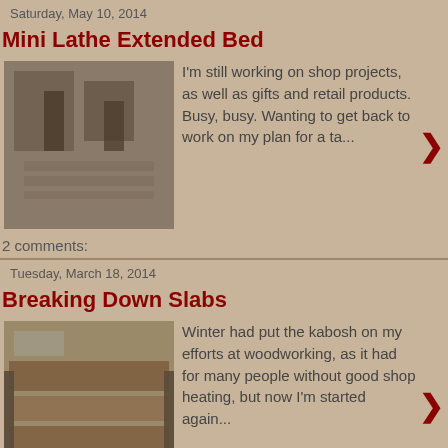Saturday, May 10, 2014
Mini Lathe Extended Bed
[Figure (photo): Woodworking shop interior with shelves and tools]
I'm still working on shop projects, as well as gifts and retail products. Busy, busy.  Wanting to get back to work on my plan for a ta...
2 comments:
Tuesday, March 18, 2014
Breaking Down Slabs
[Figure (photo): Wood slabs on a workbench in a shop]
Winter had put the kabosh on my efforts at woodworking, as it had for many people without good shop heating, but now I'm started again...
4 comments:
Friday, November 22, 2013
Welcome Home, Used Tools
I'm busy with Christmas production, both family